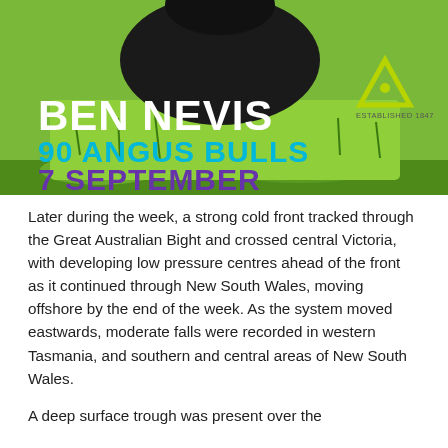[Figure (photo): Advertisement for Ben Nevis 90 Angus Bulls sale on 7 September. Shows a black Angus bull on green grass. Text overlay reads 'BEN NEVIS' in white bold letters, '90 ANGUS BULLS' in blue, '7 SEPTEMBER' in purple, with an olive/lime-green triangle logo and 'ESTABLISHED 1847' text.]
Later during the week, a strong cold front tracked through the Great Australian Bight and crossed central Victoria, with developing low pressure centres ahead of the front as it continued through New South Wales, moving offshore by the end of the week. As the system moved eastwards, moderate falls were recorded in western Tasmania, and southern and central areas of New South Wales.
A deep surface trough was present over the